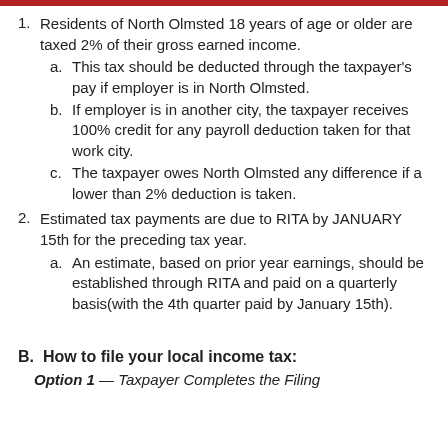Residents of North Olmsted 18 years of age or older are taxed 2% of their gross earned income.
  a. This tax should be deducted through the taxpayer's pay if employer is in North Olmsted.
  b. If employer is in another city, the taxpayer receives 100% credit for any payroll deduction taken for that work city.
  c. The taxpayer owes North Olmsted any difference if a lower than 2% deduction is taken.
Estimated tax payments are due to RITA by JANUARY 15th for the preceding tax year.
  a. An estimate, based on prior year earnings, should be established through RITA and paid on a quarterly basis(with the 4th quarter paid by January 15th).
B.  How to file your local income tax:
Option 1 — Taxpayer Completes the Filing